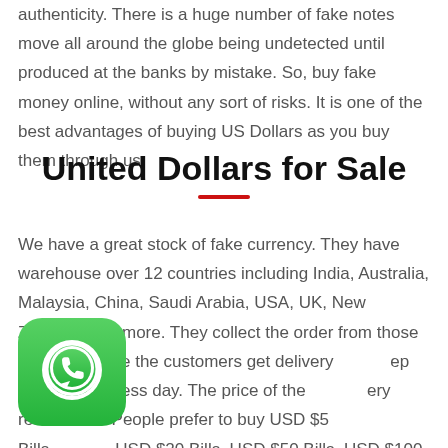authenticity. There is a huge number of fake notes move all around the globe being undetected until produced at the banks by mistake. So, buy fake money online, without any sort of risks. It is one of the best advantages of buying US Dollars as you buy them through us.
United Dollars for Sale
We have a great stock of fake currency. They have warehouse over 12 countries including India, Australia, Malaysia, China, Saudi Arabia, USA, UK, New Zealand, and more. They collect the order from those countries while the customers get delivery [k]eep within a business day. The price of the [v]ery reasonable. People prefer to buy USD $5 Bills, USD $20 Bills, USD $50 Bills, USD $100 Bills. It is wise to buy the US dollars, whenever there is an offer such as
[Figure (logo): WhatsApp logo icon - green rounded square with white phone handset]